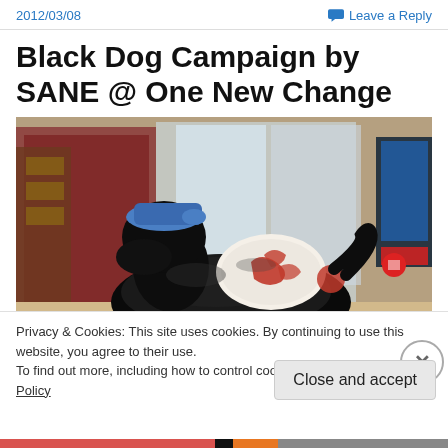2012/03/08
Leave a Reply
Black Dog Campaign by SANE @ One New Change
[Figure (photo): A shiny black dog statue decorated with a blue cap and a painted design on its back, displayed indoors in what appears to be a shopping centre. The background shows retail shops with red signage.]
Privacy & Cookies: This site uses cookies. By continuing to use this website, you agree to their use.
To find out more, including how to control cookies, see here: Cookie Policy
Close and accept